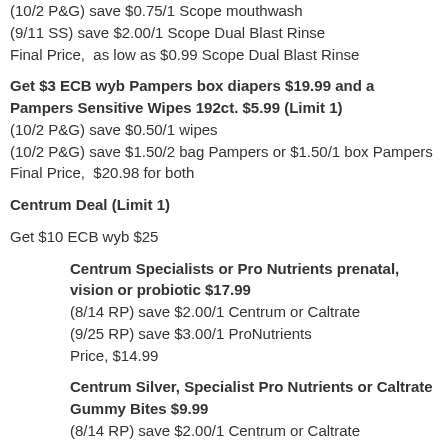(10/2 P&G) save $0.75/1 Scope mouthwash
(9/11 SS) save $2.00/1 Scope Dual Blast Rinse
Final Price,  as low as $0.99 Scope Dual Blast Rinse
Get $3 ECB wyb Pampers box diapers $19.99 and a Pampers Sensitive Wipes 192ct. $5.99 (Limit 1)
(10/2 P&G) save $0.50/1 wipes
(10/2 P&G) save $1.50/2 bag Pampers or $1.50/1 box Pampers
Final Price,  $20.98 for both
Centrum Deal (Limit 1)
Get $10 ECB wyb $25
Centrum Specialists or Pro Nutrients prenatal, vision or probiotic $17.99
(8/14 RP) save $2.00/1 Centrum or Caltrate
(9/25 RP) save $3.00/1 ProNutrients
Price, $14.99
Centrum Silver, Specialist Pro Nutrients or Caltrate Gummy Bites $9.99
(8/14 RP) save $2.00/1 Centrum or Caltrate